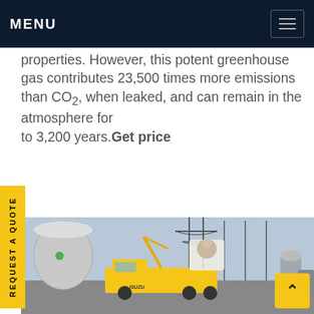MENU
properties. However, this potent greenhouse gas contributes 23,500 times more emissions than CO2, when leaked, and can remain in the atmosphere for to 3,200 years.Get price
REQUEST A QUOTE
[Figure (photo): Industrial electrical substation with yellow utility trucks (including an ISUZU truck), cranes, power transmission towers, and large cylindrical equipment on a bright day.]
we can send you catalogue and price list for you choosing. Leave us your email or whatsapp .
SF6 Expert   just now
Write a